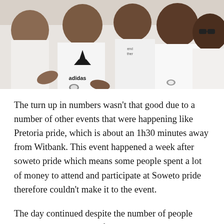[Figure (photo): Group photo of several people wearing white t-shirts, some with Adidas logos, posing together outdoors. One person wears an Adidas t-shirt prominently in the center.]
The turn up in numbers wasn't that good due to a number of other events that were happening like Pretoria pride, which is about an 1h30 minutes away from Witbank. This event happened a week after soweto pride which means some people spent a lot of money to attend and participate at Soweto pride therefore couldn't make it to the event.
The day continued despite the number of people who attended and one of the speakers not showing up because